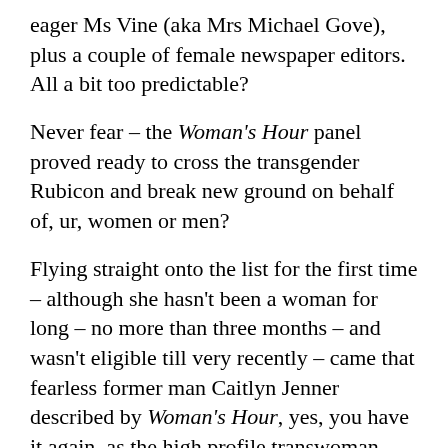eager Ms Vine (aka Mrs Michael Gove), plus a couple of female newspaper editors. All a bit too predictable?
Never fear – the Woman's Hour panel proved ready to cross the transgender Rubicon and break new ground on behalf of, ur, women or men?
Flying straight onto the list for the first time – although she hasn't been a woman for long – no more than three months – and wasn't eligible till very recently – came that fearless former man Caitlyn Jenner described by Woman's Hour, yes, you have it again, as the high profile transwoman.
I shudder to think what influence Mr/Ms or Miss Jenner is going to have over our lives.